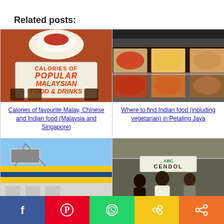Related posts:
[Figure (photo): Thumbnail image: Calories of Popular Malaysian Food and Drinks infographic with food and drinks photos]
Calories of favourite Malay, Chinese and Indian food (Malaysia and Singapore)
[Figure (photo): Thumbnail image: Indian food buffet display with various dishes in trays]
Where to find Indian food (including vegetarian) in Petaling Jaya
[Figure (photo): Thumbnail image: Exterior of a building/mall with blue sky]
[Figure (photo): Thumbnail image: Street food stall with Cendol sign and people]